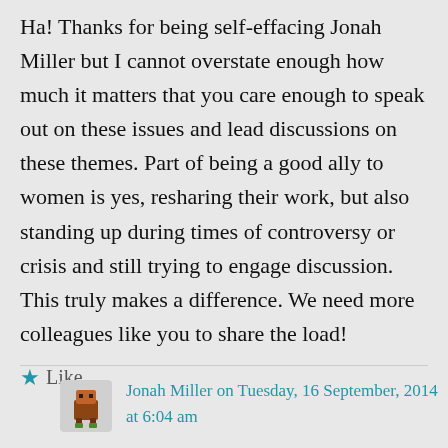Ha! Thanks for being self-effacing Jonah Miller but I cannot overstate enough how much it matters that you care enough to speak out on these issues and lead discussions on these themes. Part of being a good ally to women is yes, resharing their work, but also standing up during times of controversy or crisis and still trying to engage discussion. This truly makes a difference. We need more colleagues like you to share the load!
Like
Jonah Miller on Tuesday, 16 September, 2014 at 6:04 am